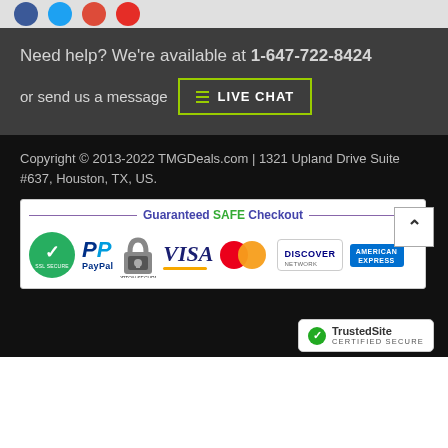Need help? We're available at 1-647-722-8424
or send us a message
LIVE CHAT
Copyright © 2013-2022 TMGDeals.com | 1321 Upland Drive Suite #637, Houston, TX, US.
[Figure (infographic): Guaranteed SAFE Checkout banner with payment method logos: SSL-secured badge, PayPal, Norton Secured, VISA, MasterCard, Discover, American Express]
[Figure (logo): TrustedSite CERTIFIED SECURE badge in bottom right corner]